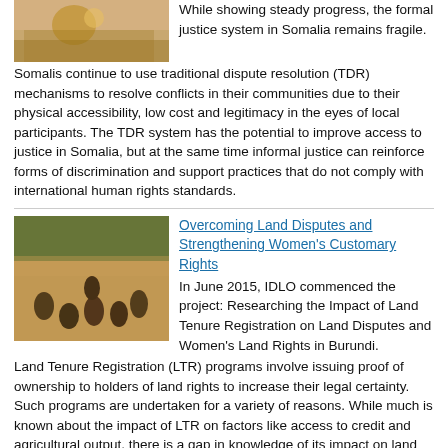[Figure (photo): Photo of people, partially cropped at top, brownish/warm tones]
While showing steady progress, the formal justice system in Somalia remains fragile. Somalis continue to use traditional dispute resolution (TDR) mechanisms to resolve conflicts in their communities due to their physical accessibility, low cost and legitimacy in the eyes of local participants. The TDR system has the potential to improve access to justice in Somalia, but at the same time informal justice can reinforce forms of discrimination and support practices that do not comply with international human rights standards.
[Figure (photo): Outdoor meeting scene with several people sitting in a circle under trees on dirt ground]
Overcoming Land Disputes and Strengthening Women's Customary Rights
In June 2015, IDLO commenced the project: Researching the Impact of Land Tenure Registration on Land Disputes and Women's Land Rights in Burundi. Land Tenure Registration (LTR) programs involve issuing proof of ownership to holders of land rights to increase their legal certainty. Such programs are undertaken for a variety of reasons. While much is known about the impact of LTR on factors like access to credit and agricultural output, there is a gap in knowledge of its impact on land disputes, particularly in post-conflict settings.